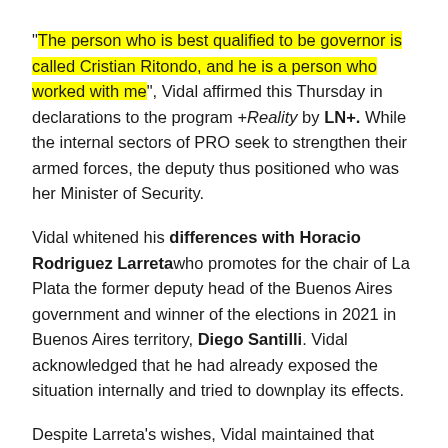“The person who is best qualified to be governor is called Cristian Ritondo, and he is a person who worked with me”, Vidal affirmed this Thursday in declarations to the program +Reality by LN+. While the internal sectors of PRO seek to strengthen their armed forces, the deputy thus positioned who was her Minister of Security.
Vidal whitened his differences with Horacio Rodriguez Larretawho promotes for the chair of La Plata the former deputy head of the Buenos Aires government and winner of the elections in 2021 in Buenos Aires territory, Diego Santilli. Vidal acknowledged that he had already exposed the situation internally and tried to downplay its effects.
Despite Larreta’s wishes, Vidal maintained that Ritondo is “the best candidate” to govern the province of Buenos Aires. File, Archive
“I have already discussed it with him, I respect Diego a lot